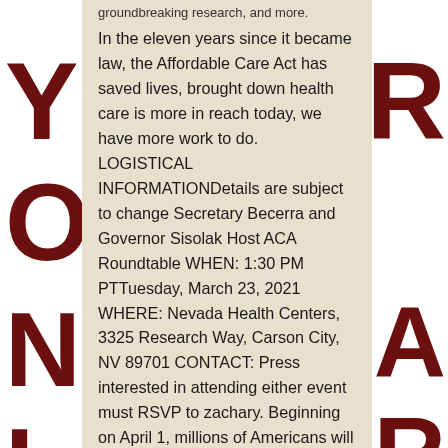groundbreaking research, and more.
In the eleven years since it became law, the Affordable Care Act has saved lives, brought down health care is more in reach today, we have more work to do. LOGISTICAL INFORMATIONDetails are subject to change Secretary Becerra and Governor Sisolak Host ACA Roundtable WHEN: 1:30 PM PTTuesday, March 23, 2021 WHERE: Nevada Health Centers, 3325 Research Way, Carson City, NV 89701 CONTACT: Press interested in attending either event must RSVP to zachary. Beginning on April 1, millions of Americans will be eligible for even more does lumigan make eyelashes grow affordable options on HealthCare. American families said HHS Chief of Staff Sean McCluskie. These